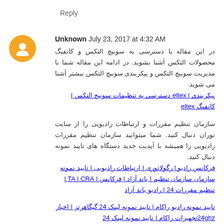Reply
Unknown July 23, 2017 at 4:32 AM
در این مقاله با دسترسی به سوبیچ التکس و کانفیگ محصولات التکس آشنا بشوید. در ادامه این مقاله شما با مدیریت سوبیچ التکس و پیکربندی سوبیچ التکس بیشتر آشنا می شوید. پیکربندی | eltex دسترسی به تنظیمات سونیچ التکس | کانفیگ eltex
سازمان تنظیم مقررات و ارتباطات رادیویی را از سایت نوران دنبال کنید. شما میتوانید سازمان تنظیم مقررات رادیویی را همیشه با آپدیت جدید دستگاه های تایید نمونه دنبال کنید. فرکانس رادیو | رگولاتوری | ارتباطات رادیویی | تایید نمونه سازمان سازمان تنظیم | باند آزاد | فرکانس | TA | CRA | تنظیم مقررات 24 | رادیو باند آزاد
تایید نمونه رادیو راکام | تایید نمونه لینک 24 گیگاهرتز | اخبار 24ghzتجهیزات راکام | تایید نمونه لینک 24